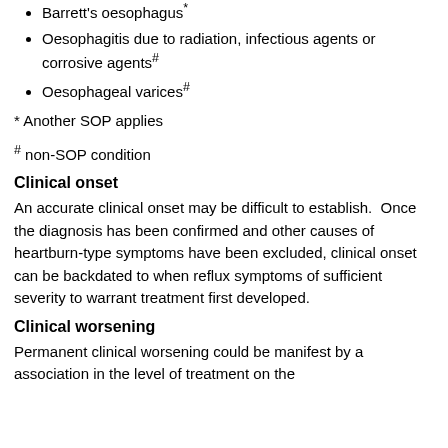Barrett's oesophagus*
Oesophagitis due to radiation, infectious agents or corrosive agents#
Oesophageal varices#
* Another SOP applies
# non-SOP condition
Clinical onset
An accurate clinical onset may be difficult to establish.  Once the diagnosis has been confirmed and other causes of heartburn-type symptoms have been excluded, clinical onset can be backdated to when reflux symptoms of sufficient severity to warrant treatment first developed.
Clinical worsening
Permanent clinical worsening could be manifest by a association in the level of treatment on the...